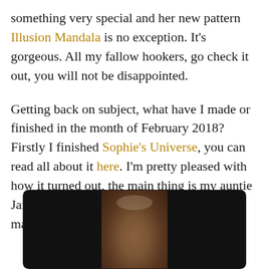something very special and her new pattern Illusion Mandala is no exception. It's gorgeous. All my fallow hookers, go check it out, you will not be disappointed.
Getting back on subject, what have I made or finished in the month of February 2018? Firstly I finished Sophie's Universe, you can read all about it here. I'm pretty pleased with how it turned out, the main thing is my auntie Jan absolutely loves it and that is all that matters.
[Figure (photo): A photo of a cat or animal displayed in a dark-framed container with black panels on the sides and a brown/orange animal visible in the center.]